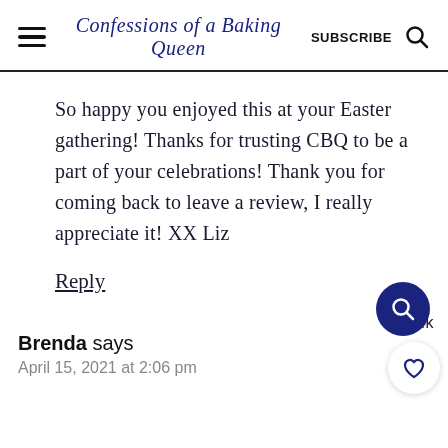Confessions of a Baking Queen  SUBSCRIBE
So happy you enjoyed this at your Easter gathering! Thanks for trusting CBQ to be a part of your celebrations! Thank you for coming back to leave a review, I really appreciate it! XX Liz
Reply  19.4k
Brenda says
April 15, 2021 at 2:06 pm